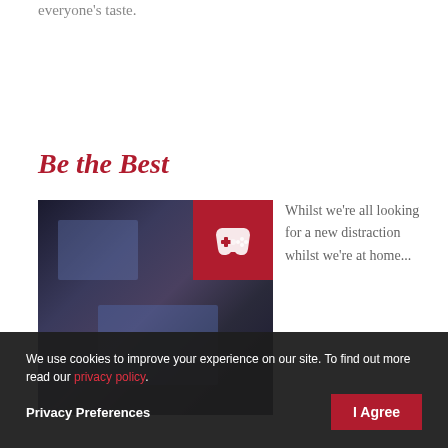everyone's taste.
Be the Best
[Figure (photo): Person sitting at a gaming setup with monitors, wearing a cap and headphones, dark room setting. Red gaming controller icon overlay in top-right of image.]
Whilst we're all looking for a new distraction whilst we're at home... thing that you enjoy at. Get access to the latest games on Xbox which are less and test your gaming skills
We use cookies to improve your experience on our site. To find out more read our privacy policy.
Privacy Preferences
I Agree